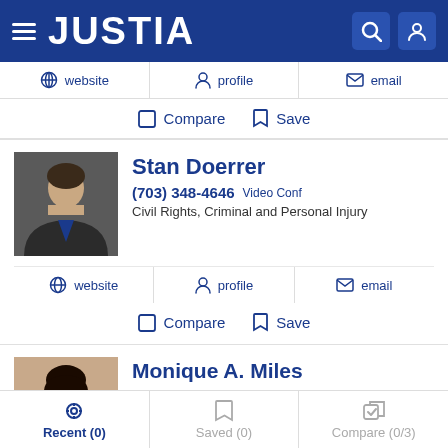JUSTIA
website  profile  email
Compare  Save
Stan Doerrer
(703) 348-4646  Video Conf
Civil Rights, Criminal and Personal Injury
website  profile  email
Compare  Save
Monique A. Miles
(703) 519-6810
Recent (0)  Saved (0)  Compare (0/3)